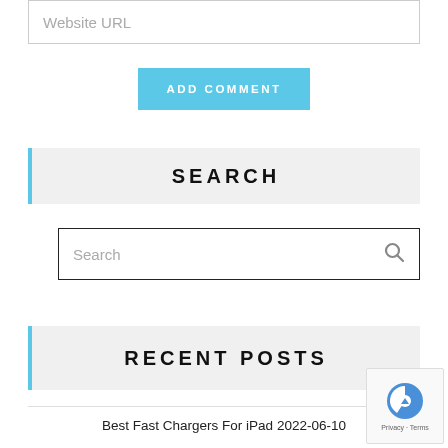Website URL
ADD COMMENT
SEARCH
Search
RECENT POSTS
Best Fast Chargers For iPad 2022-06-10